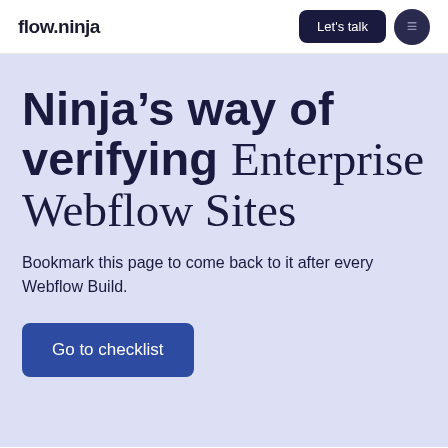flow.ninja
Ninja’s way of verifying Enterprise Webflow Sites
Bookmark this page to come back to it after every Webflow Build.
Go to checklist